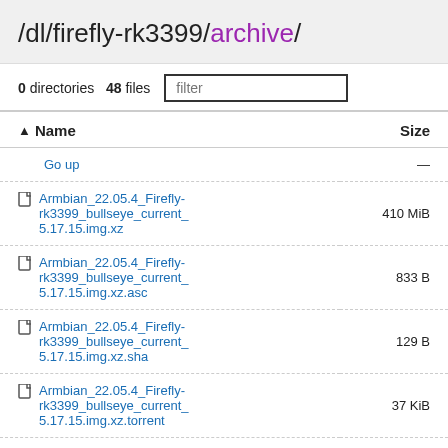/dl/firefly-rk3399/archive/
0 directories   48 files
| Name | Size |
| --- | --- |
| Go up | — |
| Armbian_22.05.4_Firefly-rk3399_bullseye_current_5.17.15.img.xz | 410 MiB |
| Armbian_22.05.4_Firefly-rk3399_bullseye_current_5.17.15.img.xz.asc | 833 B |
| Armbian_22.05.4_Firefly-rk3399_bullseye_current_5.17.15.img.xz.sha | 129 B |
| Armbian_22.05.4_Firefly-rk3399_bullseye_current_5.17.15.img.xz.torrent | 37 KiB |
| Armbian_22.05.4_Firefly-rk3399_bullseye_current_5.17.15.img.xz.torrent.md5 | 33 B |